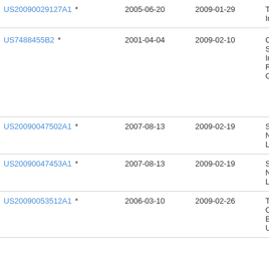| Patent Number | Filing Date | Publication Date | Assignee |
| --- | --- | --- | --- |
| US20090029127A1 * | 2005-06-20 | 2009-01-29 | Tor Inc |
| US7488455B2 * | 2001-04-04 | 2009-02-10 | Con Sci Ind Res Org |
| US20090047502A1 * | 2007-08-13 | 2009-02-19 | Sm Na Llc |
| US20090047453A1 * | 2007-08-13 | 2009-02-19 | Sm Na Llc |
| US20090053512A1 * | 2006-03-10 | 2009-02-26 | The Of Bel Uni |